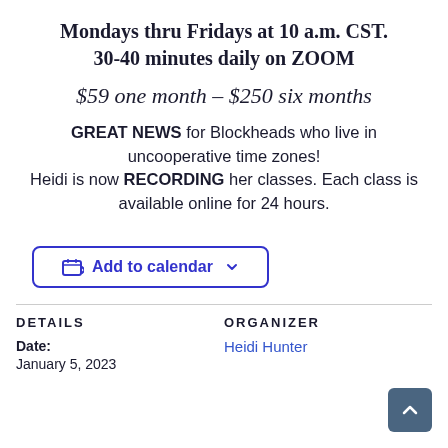Mondays thru Fridays at 10 a.m. CST. 30-40 minutes daily on ZOOM
$59 one month – $250 six months
GREAT NEWS for Blockheads who live in uncooperative time zones! Heidi is now RECORDING her classes. Each class is available online for 24 hours.
Add to calendar
DETAILS
ORGANIZER
Date:
January 5, 2023
Heidi Hunter